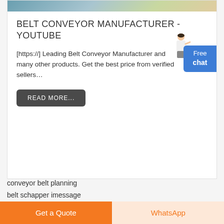[Figure (photo): Partial image strip at the top of a card showing an outdoor/industrial scene]
BELT CONVEYOR MANUFACTURER - YOUTUBE
[https://] Leading Belt Conveyor Manufacturer and many other products. Get the best price from verified sellers...
READ MORE...
Free chat
conveyor belt planning
belt schapper imessage
Get a Quote
WhatsApp